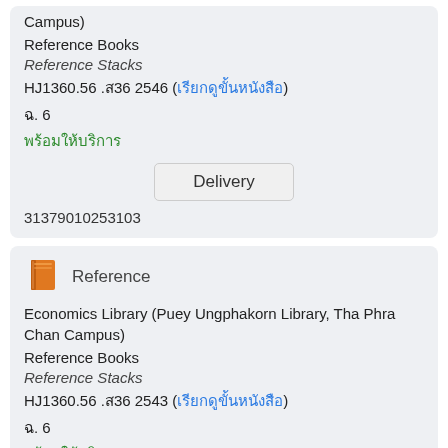Campus)
Reference Books
Reference Stacks
HJ1360.56 .ส36 2546 (เรียกดูขั้นหนังสือ)
ฉ. 6
พร้อมให้บริการ
Delivery
31379010253103
Reference
Economics Library (Puey Ungphakorn Library, Tha Phra Chan Campus)
Reference Books
Reference Stacks
HJ1360.56 .ส36 2543 (เรียกดูขั้นหนังสือ)
ฉ. 6
พร้อมให้บริการ